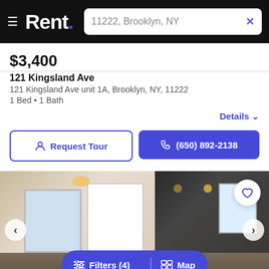Rent. — 11222, Brooklyn, NY
$3,400
121 Kingsland Ave
121 Kingsland Ave unit 1A, Brooklyn, NY, 11222
1 Bed • 1 Bath
Details
Request Tour
(650) 892-2138
[Figure (photo): Interior photo of apartment unit showing open kitchen and living area with white walls, ceiling light, and dark accent ceiling. Navigation arrows and heart save button visible, with Filters (4) and Map buttons overlaid at bottom.]